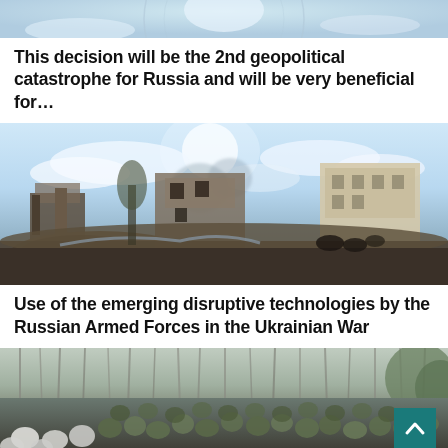[Figure (photo): Partial top of an image showing a sky with a circular emblem/watermark, cropped at the top of the page]
This decision will be the 2nd geopolitical catastrophe for Russia and will be very beneficial for…
[Figure (photo): War destruction scene showing bombed/ruined buildings with rubble, people in the foreground, bright sky with clouds in the background]
Use of the emerging disruptive technologies by the Russian Armed Forces in the Ukrainian War
[Figure (photo): Large crowd of people including soldiers and civilians gathered in a forested area, viewed from behind]